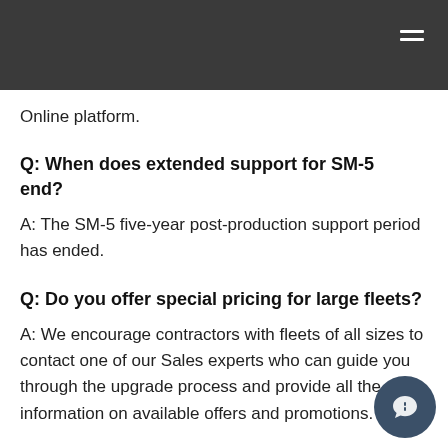Online platform.
Q: When does extended support for SM-5 end?
A: The SM-5 five-year post-production support period has ended.
Q: Do you offer special pricing for large fleets?
A: We encourage contractors with fleets of all sizes to contact one of our Sales experts who can guide you through the upgrade process and provide all the information on available offers and promotions.